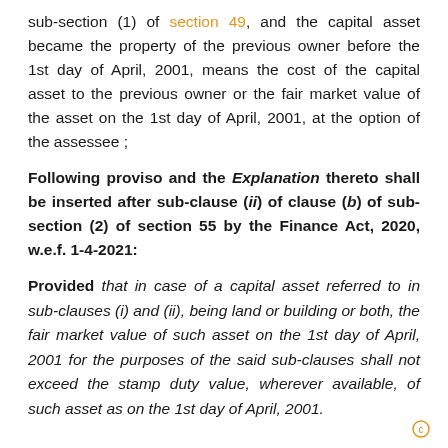sub-section (1) of section 49, and the capital asset became the property of the previous owner before the 1st day of April, 2001, means the cost of the capital asset to the previous owner or the fair market value of the asset on the 1st day of April, 2001, at the option of the assessee ;
Following proviso and the Explanation thereto shall be inserted after sub-clause (ii) of clause (b) of sub-section (2) of section 55 by the Finance Act, 2020, w.e.f. 1-4-2021:
Provided that in case of a capital asset referred to in sub-clauses (i) and (ii), being land or building or both, the fair market value of such asset on the 1st day of April, 2001 for the purposes of the said sub-clauses shall not exceed the stamp duty value, wherever available, of such asset as on the 1st day of April, 2001.